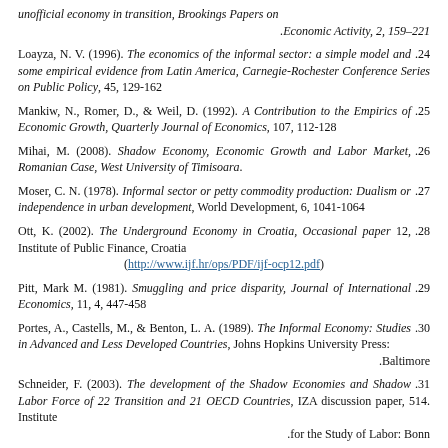unofficial economy in transition, Brookings Papers on Economic Activity, 2, 159–221
.24 Loayza, N. V. (1996). The economics of the informal sector: a simple model and some empirical evidence from Latin America, Carnegie-Rochester Conference Series on Public Policy, 45, 129-162
.25 Mankiw, N., Romer, D., & Weil, D. (1992). A Contribution to the Empirics of Economic Growth, Quarterly Journal of Economics, 107, 112-128
.26 Mihai, M. (2008). Shadow Economy, Economic Growth and Labor Market, Romanian Case, West University of Timisoara
.27 Moser, C. N. (1978). Informal sector or petty commodity production: Dualism or independence in urban development, World Development, 6, 1041-1064
.28 Ott, K. (2002). The Underground Economy in Croatia, Occasional paper 12, Institute of Public Finance, Croatia (http://www.ijf.hr/ops/PDF/ijf-ocp12.pdf)
.29 Pitt, Mark M. (1981). Smuggling and price disparity, Journal of International Economics, 11, 4, 447-458
.30 Portes, A., Castells, M., & Benton, L. A. (1989). The Informal Economy: Studies in Advanced and Less Developed Countries, Johns Hopkins University Press: Baltimore
.31 Schneider, F. (2003). The development of the Shadow Economies and Shadow Labor Force of 22 Transition and 21 OECD Countries, IZA discussion paper, 514. Institute for the Study of Labor: Bonn